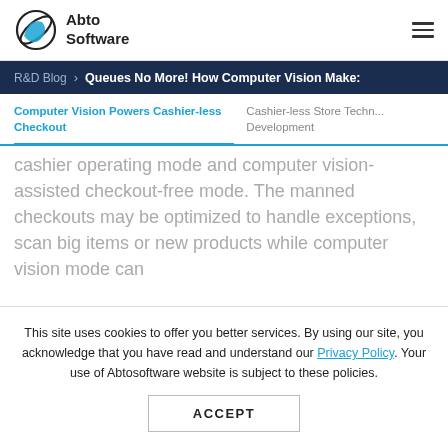Abto Software
R&D Blog > Queues No More! How Computer Vision Make:
Computer Vision Powers Cashier-less Checkout | Cashier-less Store Techn... Development
cashier operating mode and computer vision-assisted checkout-free mode. The manned checkouts may be optimized to handle exceptions, scan big items or new products while computer vision mode can
This site uses cookies to offer you better services. By using our site, you acknowledge that you have read and understand our Privacy Policy. Your use of Abtosoftware website is subject to these policies.
ACCEPT